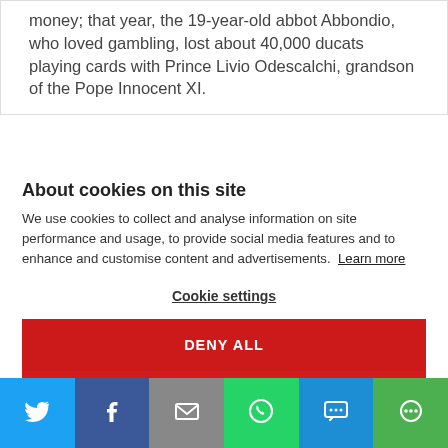money; that year, the 19-year-old abbot Abbondio, who loved gambling, lost about 40,000 ducats playing cards with Prince Livio Odescalchi, grandson of the Pope Innocent XI.
About cookies on this site
We use cookies to collect and analyse information on site performance and usage, to provide social media features and to enhance and customise content and advertisements. Learn more
Cookie settings
DENY ALL
[Figure (infographic): Social sharing bar with Twitter, Facebook, Email, WhatsApp, SMS, and More buttons]